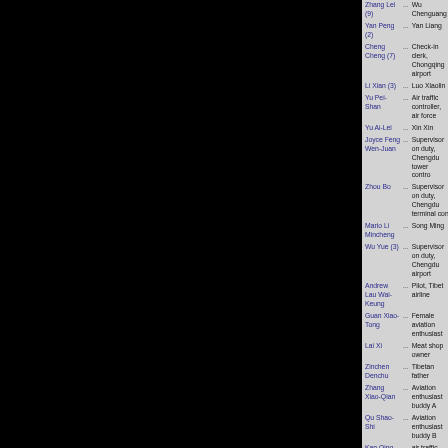| Name |  | Role |
| --- | --- | --- |
| Zhang Lei (9) | ... | Wu Chenguang |
| Yan Peng (2) | ... | Yan Liang |
| Cheng Cheng (7) | ... | Check-in clerk, Chongqing airport |
| Li Xian (3) | ... | Luo Xiaolin |
| Yu Pei-Shan | ... | Air traffic controller, air force |
| Yu Ai-Lei | ... | Xin Xin |
| Joyce Feng Wen-Juan | ... | Supervisor on duty, Chengdu tower contro |
| Zhou Bo | ... | Supervisor on duty, Chengdu terminal con |
| Mario Li Mincheng | ... | Song Ming |
| Wu Yue (3) | ... | Supervisor on duty, Chengdu airport |
| Andrew Lau Wai-Keung | ... | Pilot, Tibet airline |
| Guan Xiao-Tong | ... | Female aviation enthusiast |
| Lai Xi | ... | Meat shop owner |
| Zinchen Denchu | ... | Tibetan father |
| Zhang Xiao-Qian | ... | Aviation enthusiast buddy A |
| Qu Shao-Shi | ... | Aviation enthusiast buddy B |
| Kan Qing-Zi | ... | air traffic controller, Chengdu terminal |